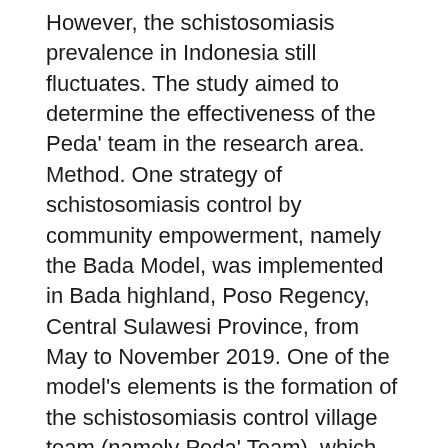However, the schistosomiasis prevalence in Indonesia still fluctuates. The study aimed to determine the effectiveness of the Peda' team in the research area. Method. One strategy of schistosomiasis control by community empowerment, namely the Bada Model, was implemented in Bada highland, Poso Regency, Central Sulawesi Province, from May to November 2019. One of the model's elements is the formation of the schistosomiasis control village team (namely Peda' Team), which was trained about schistosomiasis control. After the training, they were assigned several duties, including schistosomiasis socialization to the village community, stool sample collection, snail habitat control, snail and rats survey, and assisting the mass drug administration. The evaluation was conducted in stool sample coverage and the snail habitat area. Results. The results showed an